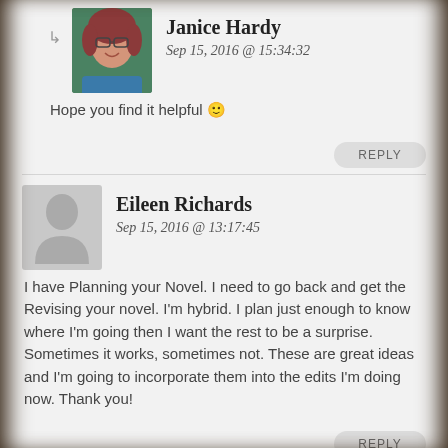Janice Hardy
Sep 15, 2016 @ 15:34:32
Hope you find it helpful 🙂
REPLY
Eileen Richards
Sep 15, 2016 @ 13:17:45
I have Planning your Novel. I need to go back and get the Revising your novel. I'm hybrid. I plan just enough to know where I'm going then I want the rest to be a surprise. Sometimes it works, sometimes not. These are great ideas and I'm going to incorporate them into the edits I'm doing now. Thank you!
REPLY
Janice Hardy
Sep 15, 2016 @ 15:35:38
Mot welcome, and thank you! I tend to